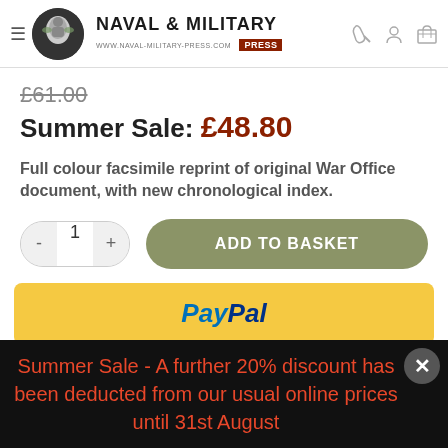[Figure (logo): Naval & Military Press logo with circular emblem, title text and website URL]
£61.00
Summer Sale: £48.80
Full colour facsimile reprint of original War Office document, with new chronological index.
[Figure (other): Add to Basket button with quantity selector showing - 1 +]
[Figure (other): PayPal payment button in yellow with PayPal logo]
The safer, easier way to pay
Summer Sale - A further 20% discount has been deducted from our usual online prices until 31st August